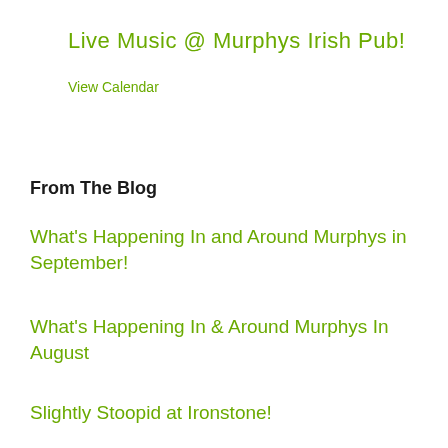Live Music @ Murphys Irish Pub!
View Calendar
From The Blog
What's Happening In and Around Murphys in September!
What's Happening In & Around Murphys In August
Slightly Stoopid at Ironstone!